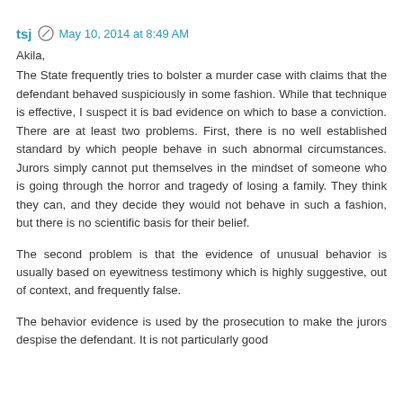tsj  May 10, 2014 at 8:49 AM
Akila,
The State frequently tries to bolster a murder case with claims that the defendant behaved suspiciously in some fashion. While that technique is effective, I suspect it is bad evidence on which to base a conviction. There are at least two problems. First, there is no well established standard by which people behave in such abnormal circumstances. Jurors simply cannot put themselves in the mindset of someone who is going through the horror and tragedy of losing a family. They think they can, and they decide they would not behave in such a fashion, but there is no scientific basis for their belief.
The second problem is that the evidence of unusual behavior is usually based on eyewitness testimony which is highly suggestive, out of context, and frequently false.
The behavior evidence is used by the prosecution to make the jurors despise the defendant. It is not particularly good